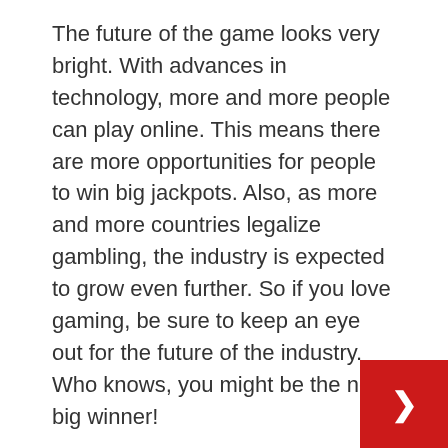The future of the game looks very bright. With advances in technology, more and more people can play online. This means there are more opportunities for people to win big jackpots. Also, as more and more countries legalize gambling, the industry is expected to grow even further. So if you love gaming, be sure to keep an eye out for the future of the industry. Who knows, you might be the next big winner!
Conclusion
These are just a few things to keep in mind when choosing the best online casino in Romania. It can be hard to know where to start with so many options available. But, if you keep these tips in mind, you'll be sure to find a casino that's right you. So what are you waiting for? Start playing